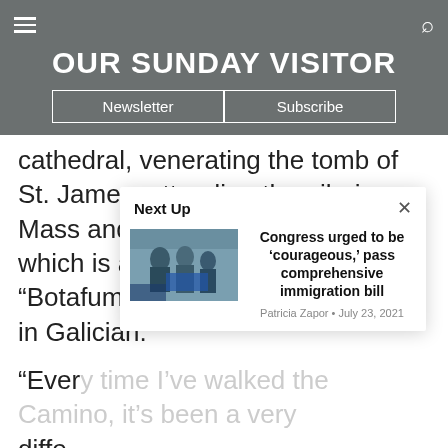OUR SUNDAY VISITOR
Newsletter   Subscribe
cathedral, venerating the tomb of St. James, attending the pilgrim Mass and seeing the giant thurible, which is also known as the "Botafumeiro," or "smoke expeller" in Galician.
"Every time I've walked the Camino, it's been a very diffe... adde... will p... time... be," s...
[Figure (screenshot): Next Up popup overlay showing article: Congress urged to be 'courageous,' pass comprehensive immigration bill by Patricia Zapor, July 23, 2021]
Congress urged to be 'courageous,' pass comprehensive immigration bill
Patricia Zapor • July 23, 2021